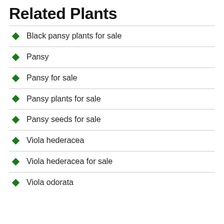Related Plants
Black pansy plants for sale
Pansy
Pansy for sale
Pansy plants for sale
Pansy seeds for sale
Viola hederacea
Viola hederacea for sale
Viola odorata